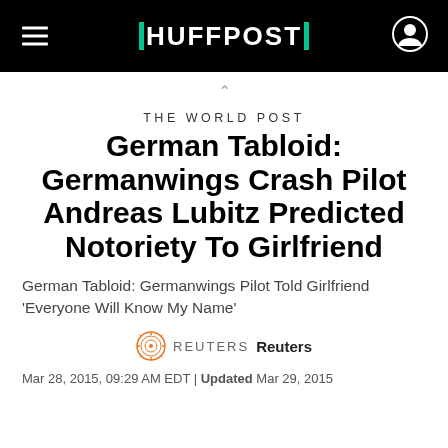HUFFPOST
THE WORLD POST
German Tabloid: Germanwings Crash Pilot Andreas Lubitz Predicted Notoriety To Girlfriend
German Tabloid: Germanwings Pilot Told Girlfriend 'Everyone Will Know My Name'
REUTERS  Reuters
Mar 28, 2015, 09:29 AM EDT | Updated Mar 29, 2015